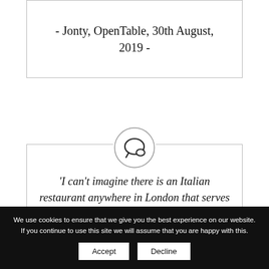- Jonty, OpenTable, 30th August, 2019 -
[Figure (illustration): Speech bubble chat icon inside a circle]
'I can't imagine there is an Italian restaurant anywhere in London that serves food as good as Le Querce.
We use cookies to ensure that we give you the best experience on our website. If you continue to use this site we will assume that you are happy with this.